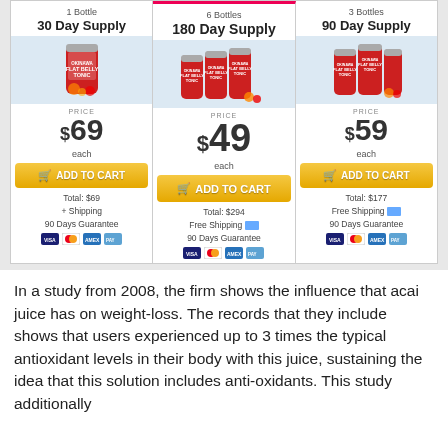[Figure (infographic): Pricing table showing 3 options for Okinawa Flat Belly Tonic: 1 Bottle/30 Day Supply at $69 each (Total: $69 + Shipping, 90 Days Guarantee), 6 Bottles/180 Day Supply at $49 each (Total: $294, Free Shipping, 90 Days Guarantee) - highlighted as featured option, 3 Bottles/90 Day Supply at $59 each (Total: $177, Free Shipping, 90 Days Guarantee). Each option has an ADD TO CART button and payment icons.]
In a study from 2008, the firm shows the influence that acai juice has on weight-loss. The records that they include shows that users experienced up to 3 times the typical antioxidant levels in their body with this juice, sustaining the idea that this solution includes anti-oxidants. This study additionally